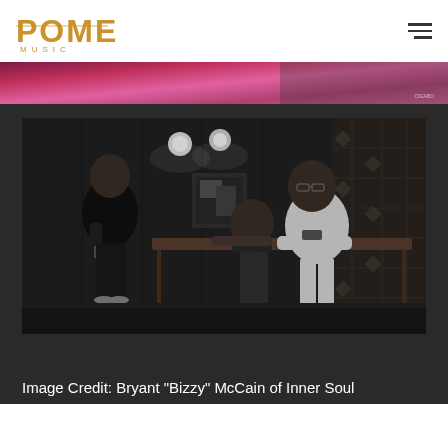POME MUSIC
[Figure (photo): Partial top image showing a pink/magenta blurred background, partially cropped]
[Figure (photo): Black and white photo of three people in a recording studio or bar-like setting. One person stands on the left in a black t-shirt holding a phone. A second person sits in the middle leaning on a wooden table. A third person on the right wears a white t-shirt and glasses, sitting at the table. Overhead lights and patterned wall decor visible in the background.]
Image Credit: Bryant "Bizzy" McCain of Inner Soul Images